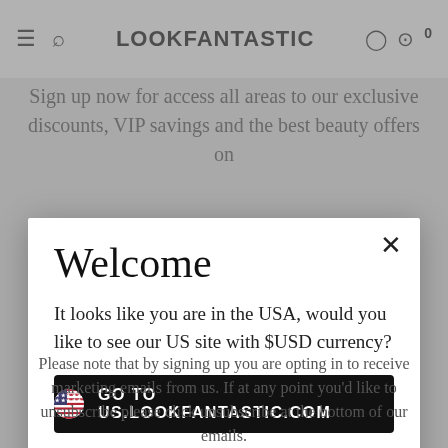LOOKFANTASTIC
Sign up now for access all areas to our exclusive discounts, VIP savings and the best beauty offers on
Welcome
It looks like you are in the USA, would you like to see our US site with $USD currency?
GO TO US.LOOKFANTASTIC.COM
No Thanks, Stay on LOOKFANTASTIC.COM
Please note that by signing up you are opting in to receive marketing emails from us. If at any point you'd like to unsubscribe please click unsubscribe at the bottom of our emails.